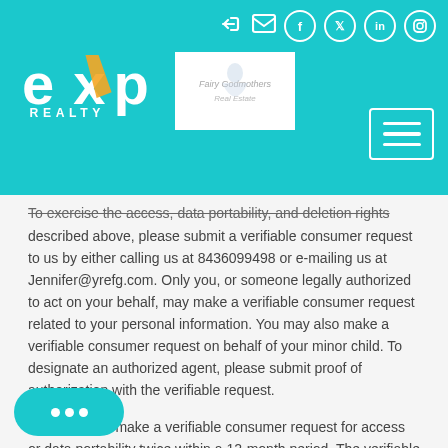eXp Realty header with logo, sub-logo, social icons, and hamburger menu
To exercise the access, data portability, and deletion rights described above, please submit a verifiable consumer request to us by either calling us at 8436099498 or e-mailing us at Jennifer@yrefg.com. Only you, or someone legally authorized to act on your behalf, may make a verifiable consumer request related to your personal information. You may also make a verifiable consumer request on behalf of your minor child. To designate an authorized agent, please submit proof of authorization with the verifiable request.
You may only make a verifiable consumer request for access or data portability twice within a 12-month period. The verifiable request must provide sufficient information that allows us to reasonably verify you are the person about whom we